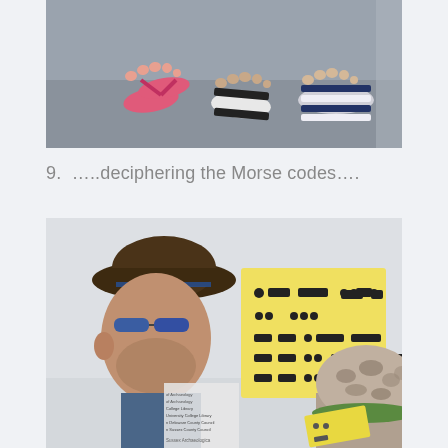[Figure (photo): Overhead photo of feet in sandals on a grey floor — one person wearing pink flip-flops, another wearing black-and-white striped slide sandals, another wearing navy striped slide sandals.]
9.  …..deciphering the Morse codes….
[Figure (photo): A man wearing a brown fedora hat and blue sunglasses leans in to read a yellow paper card on a light grey wall showing Morse code dots and dashes. In the lower right corner a child wearing a camouflage cap with a green brim holds a smaller yellow sheet and looks at the wall.]